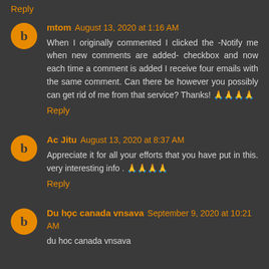Reply
mtom August 13, 2020 at 1:16 AM
When I originally commented I clicked the -Notify me when new comments are added- checkbox and now each time a comment is added I receive four emails with the same comment. Can there be however you possibly can get rid of me from that service? Thanks! 🙏🙏🙏🙏
Reply
Ac Jitu August 13, 2020 at 8:37 AM
Appreciate it for all your efforts that you have put in this. very interesting info . 🙏🙏🙏🙏
Reply
Du học canada vnsava September 9, 2020 at 10:21 AM
du hoc canada vnsava